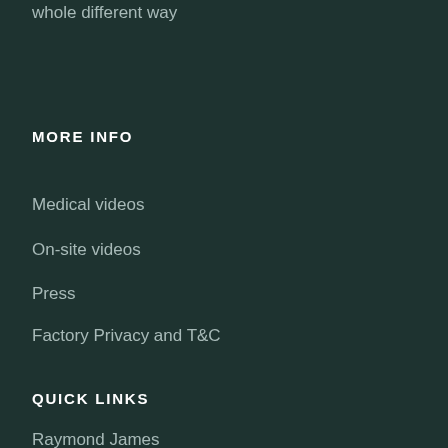whole different way
MORE INFO
Medical videos
On-site videos
Press
Factory Privacy and T&C
QUICK LINKS
Raymond James
Rewards
Pareto Turnkey
Video Score Survey
AWARDS AND MEMBERSHIPS